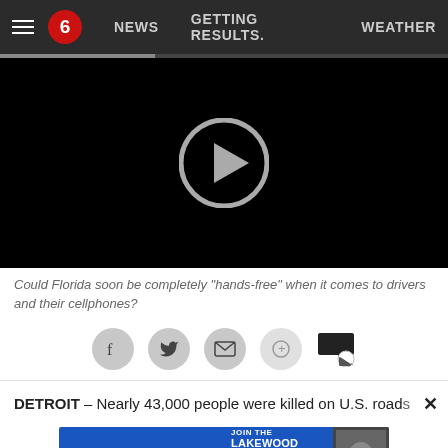≡  6  NEWS   GETTING RESULTS.   WEATHER
[Figure (screenshot): Black video player area with a gray play button circle in the center]
Could Florida soon be completely "hands-free" when it comes to drivers and their cellphones?
[Figure (infographic): Social share bar with Facebook, Twitter, email, share, and comment icons]
DETROIT – Nearly 43,000 people were killed on U.S. roads
[Figure (screenshot): Advertisement banner: HOPE IS ALIVE — JOIN THE LAKEWOOD CHURCH ONLINE EXPERIENCE — CLICK HERE]
forced many to stay at home.